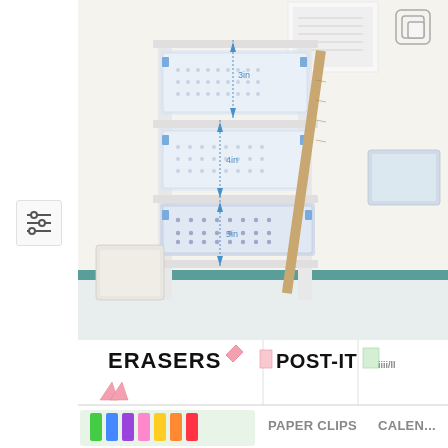[Figure (photo): Photo of white shelving unit with multiple clear plastic mesh/perforated storage baskets on shelves, with blue clips. A wooden ruler/yardstick leans against the side. Measurement annotations show '3in', '4in', '5in' pointing to different shelf heights. A white storage tray sits on the lower left. Background shows a classroom wall with papers and a teal chalkboard.]
[Figure (photo): Closeup photo of labeled classroom supply organizer bins. Visible labels include 'ERASERS' with eraser clip art, 'POST-IT' with sticky note clip art, 'PAPER CLIPS', 'CALEN...' (calendar), and 'GLUE UP'. A drawer with colorful markers/pens (green, blue, purple, pink) is visible on the lower left.]